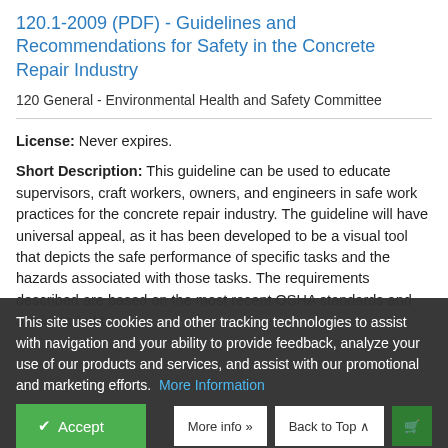120.1-2009 (PDF) - Guidelines and Recommendations for Safety in the Concrete Repair Industry
120 General - Environmental Health and Safety Committee
License: Never expires.
Short Description: This guideline can be used to educate supervisors, craft workers, owners, and engineers in safe work practices for the concrete repair industry. The guideline will have universal appeal, as it has been developed to be a visual tool that depicts the safe performance of specific tasks and the hazards associated with those tasks. The requirements described are based on the most recent OSHA standards and are intended to
This site uses cookies and other tracking technologies to assist with navigation and your ability to provide feedback, analyze your use of our products and services, and assist with our promotional and marketing efforts.  More Information
Price: $0.00 - $02.00
Accept
More info »
Back to Top